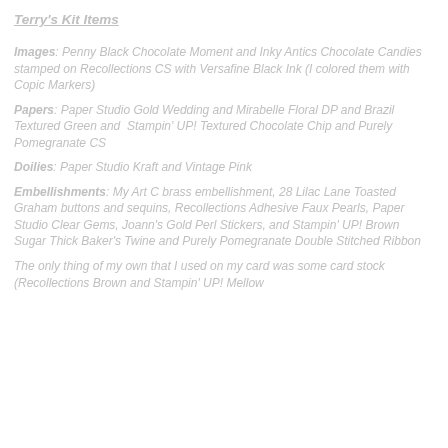Terry's Kit Items
Images: Penny Black Chocolate Moment and Inky Antics Chocolate Candies stamped on Recollections CS with Versafine Black Ink (I colored them with Copic Markers)
Papers: Paper Studio Gold Wedding and Mirabelle Floral DP and Brazil Textured Green and  Stampin' UP! Textured Chocolate Chip and Purely Pomegranate CS
Doilies: Paper Studio Kraft and Vintage Pink
Embellishments: My Art C brass embellishment, 28 Lilac Lane Toasted Graham buttons and sequins, Recollections Adhesive Faux Pearls, Paper Studio Clear Gems, Joann's Gold Perl Stickers, and Stampin' UP! Brown Sugar Thick Baker's Twine and Purely Pomegranate Double Stitched Ribbon
The only thing of my own that I used on my card was some card stock (Recollections Brown and Stampin' UP! Mellow